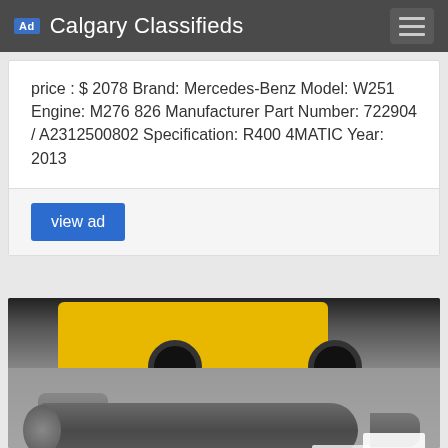Ad Calgary Classifieds
price : $ 2078 Brand: Mercedes-Benz Model: W251 Engine: M276 826 Manufacturer Part Number: 722904 / A2312500802 Specification: R400 4MATIC Year: 2013
view ad
[Figure (photo): Photo showing a yellow car in the background and a Mercedes-Benz transmission/gearbox unit (7-speed automatic) on a gray floor in the foreground, with white label tags attached.]